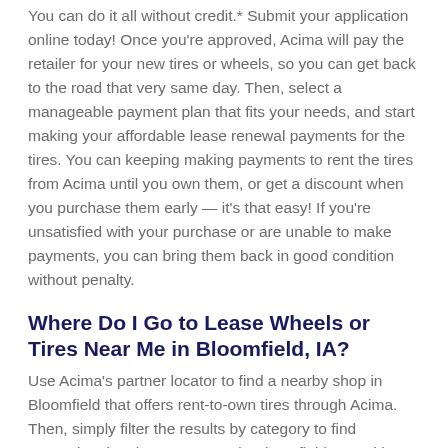You can do it all without credit.* Submit your application online today! Once you're approved, Acima will pay the retailer for your new tires or wheels, so you can get back to the road that very same day. Then, select a manageable payment plan that fits your needs, and start making your affordable lease renewal payments for the tires. You can keeping making payments to rent the tires from Acima until you own them, or get a discount when you purchase them early — it's that easy! If you're unsatisfied with your purchase or are unable to make payments, you can bring them back in good condition without penalty.
Where Do I Go to Lease Wheels or Tires Near Me in Bloomfield, IA?
Use Acima's partner locator to find a nearby shop in Bloomfield that offers rent-to-own tires through Acima. Then, simply filter the results by category to find partnering tire shops near you in Bloomfield, IA. With 15,000+ retailers to